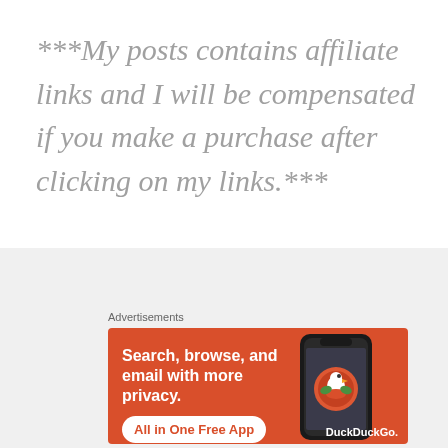***My posts contains affiliate links and I will be compensated if you make a purchase after clicking on my links.***
[Figure (screenshot): DuckDuckGo advertisement banner: orange background with text 'Search, browse, and email with more privacy. All in One Free App' and DuckDuckGo logo with phone image. Above it a close button (X circle) and 'Advertisements' label.]